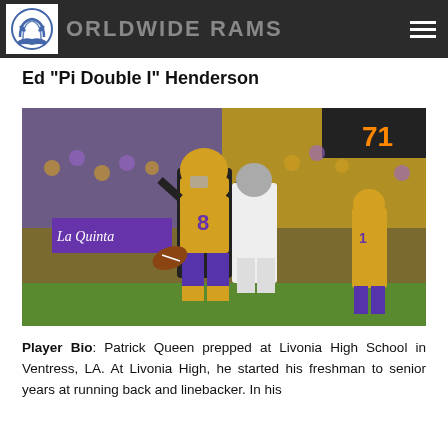WORLDWIDE RAMS
Ed "Pi Double I" Henderson
[Figure (photo): Football player wearing LSU jersey number 8 in gold and purple uniform holding a football, celebrating with crowd in background. Another LSU player wearing number 1 visible in background. Opposing team player in white/grey uniform nearby.]
Player Bio: Patrick Queen prepped at Livonia High School in Ventress, LA. At Livonia High, he started his freshman to senior years at running back and linebacker. In his